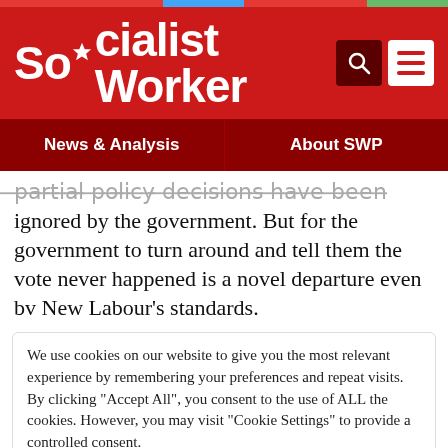Socialist Worker
News & Analysis   About SWP
...ignored by the government. But for the government to turn around and tell them the vote never happened is a novel departure even bv New Labour's standards.
We use cookies on our website to give you the most relevant experience by remembering your preferences and repeat visits. By clicking "Accept All", you consent to the use of ALL the cookies. However, you may visit "Cookie Settings" to provide a controlled consent.
Cookie Settings   Accept All